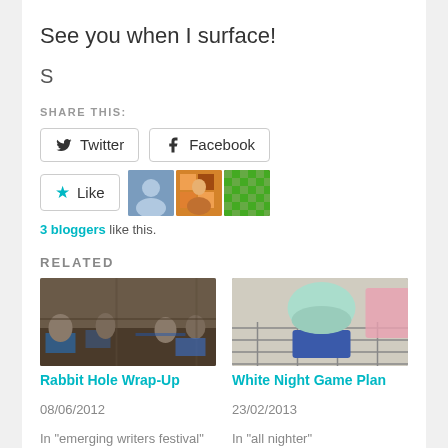See you when I surface!
S
SHARE THIS:
[Figure (screenshot): Twitter and Facebook share buttons, a Like button with a star icon, and three blogger avatar thumbnails]
3 bloggers like this.
RELATED
[Figure (photo): Photo of people at laptops in a conference room setting, low light]
Rabbit Hole Wrap-Up
08/06/2012
In "emerging writers festival"
[Figure (photo): Photo of a large decorative cupcake with green frosting on a checkered floor display]
White Night Game Plan
23/02/2013
In "all nighter"